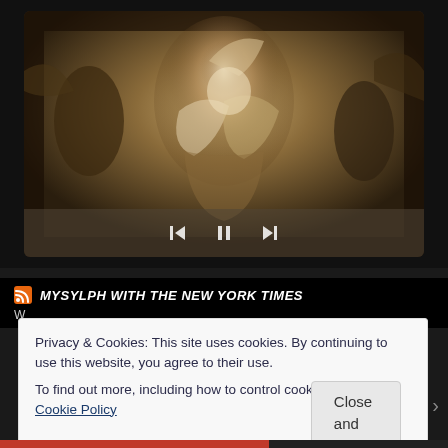[Figure (illustration): A dark-toned slideshow frame showing an old master painting of a draped female figure with arms raised, rendered in sepia/golden tones. Navigation controls (back arrow, pause, forward arrow) appear at the bottom of the frame.]
MYSYLPH WITH THE NEW YORK TIMES
Privacy & Cookies: This site uses cookies. By continuing to use this website, you agree to their use.
To find out more, including how to control cookies, see here: Cookie Policy